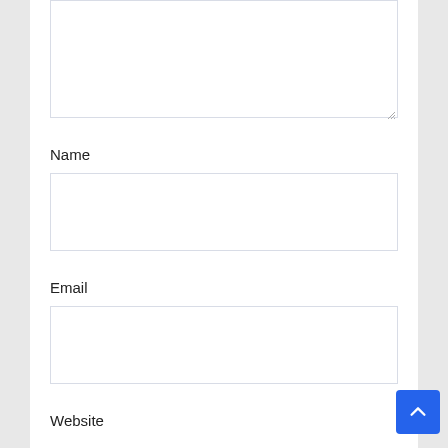[Figure (screenshot): A textarea form field (resizable) at the top of the page, partially visible]
Name
[Figure (screenshot): A single-line text input field for Name]
Email
[Figure (screenshot): A single-line text input field for Email]
Website